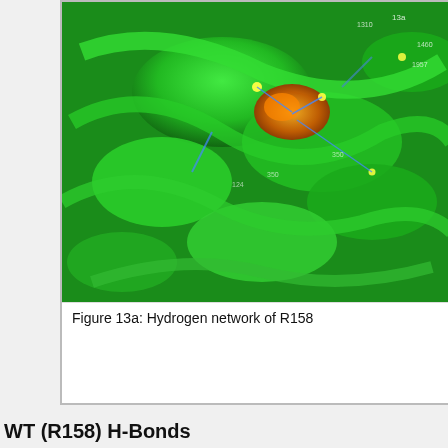[Figure (photo): 3D protein structure visualization showing green helical ribbons/coils with orange and yellow highlights indicating the hydrogen network around R158 residue]
Figure 13a: Hydrogen network of R158
WT (R158) H-Bonds
| From AA | From SC/BB? | To AA | To SC/BB? | From Atom | From Atom Index | To Atom |
| --- | --- | --- | --- | --- | --- | --- |
| R158 | SC | E280 | SC | N | 344 | O |
| R158 | SC | E280 | SC | N | 343 | O |
| R158 | SC | E141 | SC | N | 344 | O |
| R158 | SC | Y154 | SC | N | 343 | O |
| R158 | BB | Y154 | BB | N | 334 | O |
| R158 | BB | F161 | BB | O | 337 | N |
| R158 | BB | A162 | BB | O | 337 | N |